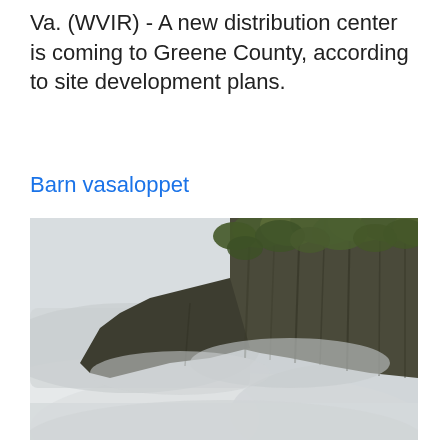Va. (WVIR) - A new distribution center is coming to Greene County, according to site development plans.
Barn vasaloppet
[Figure (photo): A rocky cliff face densely covered with green vegetation, partially obscured by thick white mist or clouds at the base and middle of the cliff.]